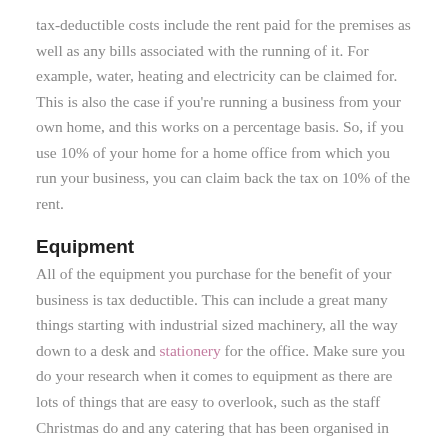tax-deductible costs include the rent paid for the premises as well as any bills associated with the running of it. For example, water, heating and electricity can be claimed for. This is also the case if you're running a business from your own home, and this works on a percentage basis. So, if you use 10% of your home for a home office from which you run your business, you can claim back the tax on 10% of the rent.
Equipment
All of the equipment you purchase for the benefit of your business is tax deductible. This can include a great many things starting with industrial sized machinery, all the way down to a desk and stationery for the office. Make sure you do your research when it comes to equipment as there are lots of things that are easy to overlook, such as the staff Christmas do and any catering that has been organised in order to entertain clients.